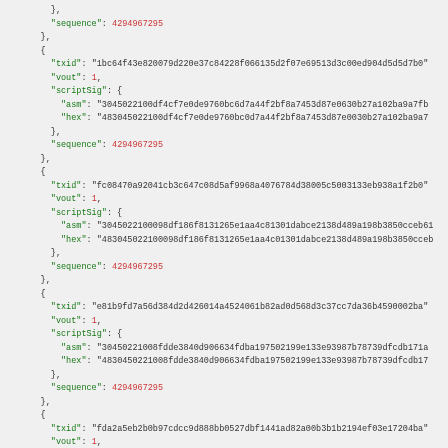JSON code block showing Bitcoin transaction input data with txid, vout, scriptSig (asm, hex), and sequence fields for multiple transaction inputs